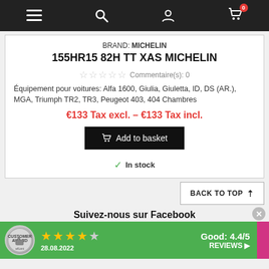Navigation bar with menu, search, account, and cart (0 items)
BRAND: MICHELIN
155HR15 82H TT XAS MICHELIN
Commentaire(s): 0
Équipement pour voitures: Alfa 1600, Giulia, Giuletta, ID, DS (AR.), MGA, Triumph TR2, TR3, Peugeot 403, 404 Chambres
€133 Tax excl. – €133 Tax incl.
Add to basket
In stock
BACK TO TOP
Suivez-nous sur Facebook
Good: 4.4/5
28.08.2022
REVIEWS